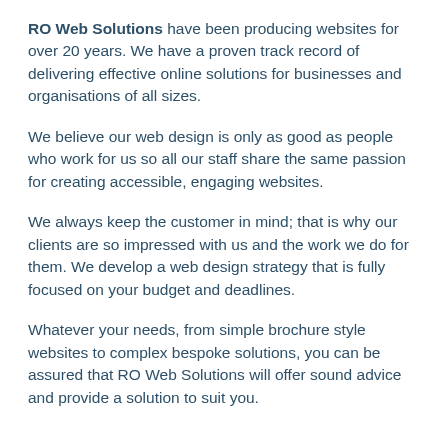RO Web Solutions have been producing websites for over 20 years. We have a proven track record of delivering effective online solutions for businesses and organisations of all sizes.
We believe our web design is only as good as people who work for us so all our staff share the same passion for creating accessible, engaging websites.
We always keep the customer in mind; that is why our clients are so impressed with us and the work we do for them. We develop a web design strategy that is fully focused on your budget and deadlines.
Whatever your needs, from simple brochure style websites to complex bespoke solutions, you can be assured that RO Web Solutions will offer sound advice and provide a solution to suit you.